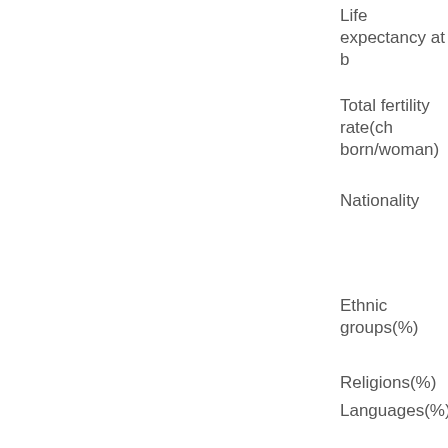Life expectancy at b
Total fertility rate(ch born/woman)
Nationality
Ethnic groups(%)
Religions(%)
Languages(%)
Country name
Government type
Capital